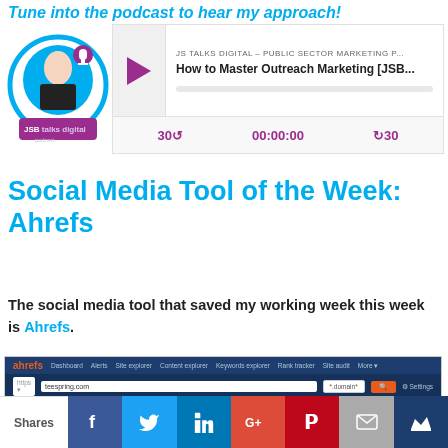Tune into the podcast to hear my approach!
[Figure (screenshot): Podcast player for JS Talks Digital – Public Sector Marketing podcast, episode: How to Master Outreach Marketing [JSB...], with play button, time display 00:00:00, rewind 30 and forward 30 controls]
Social Media Tool of the Week: Ahrefs
The social media tool that saved my working week this week is Ahrefs.
[Figure (screenshot): Screenshot of the Ahrefs SEO tool dashboard showing the site explorer for Teespring (teespring.com)]
Shares [Facebook] [Twitter] [LinkedIn] [Google+] [Pinterest] [Email] [Crown]